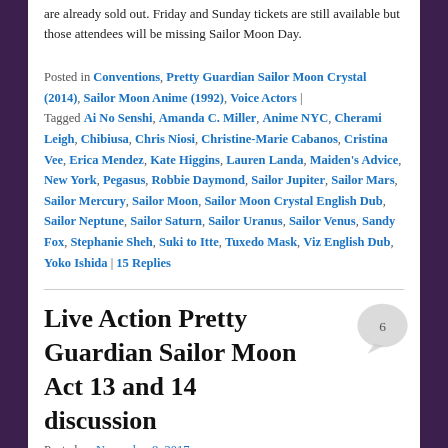are already sold out. Friday and Sunday tickets are still available but those attendees will be missing Sailor Moon Day.
Posted in Conventions, Pretty Guardian Sailor Moon Crystal (2014), Sailor Moon Anime (1992), Voice Actors | Tagged Ai No Senshi, Amanda C. Miller, Anime NYC, Cherami Leigh, Chibiusa, Chris Niosi, Christine-Marie Cabanos, Cristina Vee, Erica Mendez, Kate Higgins, Lauren Landa, Maiden's Advice, New York, Pegasus, Robbie Daymond, Sailor Jupiter, Sailor Mars, Sailor Mercury, Sailor Moon, Sailor Moon Crystal English Dub, Sailor Neptune, Sailor Saturn, Sailor Uranus, Sailor Venus, Sandy Fox, Stephanie Sheh, Suki to Itte, Tuxedo Mask, Viz English Dub, Yoko Ishida | 15 Replies
Live Action Pretty Guardian Sailor Moon Act 13 and 14 discussion
Posted on November 8, 2017